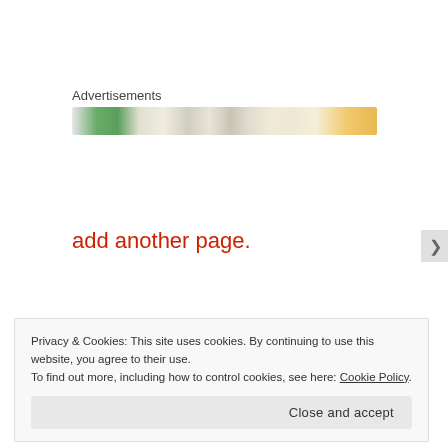Advertisements
[Figure (illustration): Advertisement banner strip with colorful triangular and citrus/fruit motifs in green, orange, and neutral tones]
add another page.
Privacy & Cookies: This site uses cookies. By continuing to use this website, you agree to their use.
To find out more, including how to control cookies, see here: Cookie Policy
Close and accept